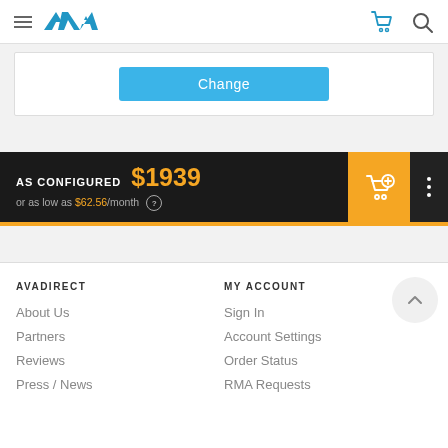AVA Direct navigation header with hamburger menu, logo, cart and search icons
[Figure (screenshot): Blue Change button inside a white card on a light gray background]
AS CONFIGURED $1939 or as low as $62.56/month
AVADIRECT
About Us
Partners
Reviews
Press / News
MY ACCOUNT
Sign In
Account Settings
Order Status
RMA Requests